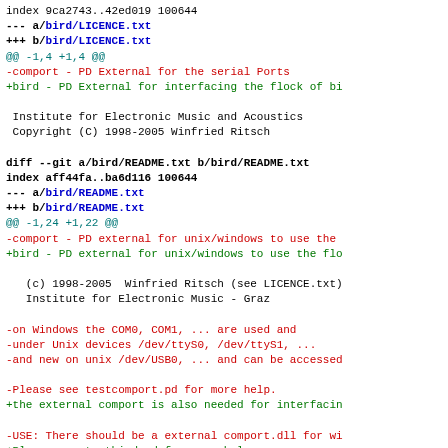index 9ca2743..42ed019 100644
--- a/bird/LICENCE.txt
+++ b/bird/LICENCE.txt
@@ -1,4 +1,4 @@
-comport - PD External for the serial Ports
+bird - PD External for interfacing the flock of bi

 Institute for Electronic Music and Acoustics
 Copyright (C) 1998-2005 Winfried Ritsch

diff --git a/bird/README.txt b/bird/README.txt
index aff44fa..ba6d116 100644
--- a/bird/README.txt
+++ b/bird/README.txt
@@ -1,24 +1,22 @@
-comport - PD external for unix/windows to use the
+bird - PD external for unix/windows to use the flo

   (c) 1998-2005  Winfried Ritsch (see LICENCE.txt)
   Institute for Electronic Music - Graz

-on Windows the COM0, COM1, ... are used and
-under Unix devices /dev/ttyS0, /dev/ttyS1, ...
-and new on unix /dev/USB0, ... and can be accessed

-Please see testcomport.pd for more help.
+the external comport is also needed for interfacin

-USE: There should be a external comport.dll for wi
+Please see testbird.pd for more help.
+